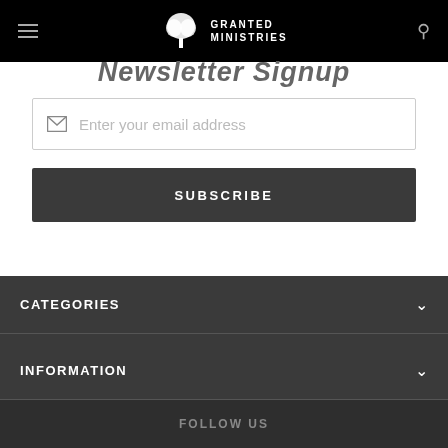Granted Ministries
Newsletter Signup
Enter your email address
SUBSCRIBE
CATEGORIES
INFORMATION
FOLLOW US